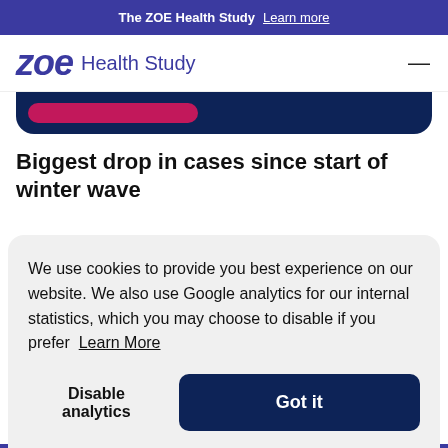The ZOE Health Study  Learn more
zoe Health Study
[Figure (screenshot): Partial view of a dark blue card with a pink/magenta progress bar element]
Biggest drop in cases since start of winter wave
We use cookies to provide you best experience on our website. We also use Google analytics for our internal statistics, which you may choose to disable if you prefer  Learn More
Disable analytics   Got it